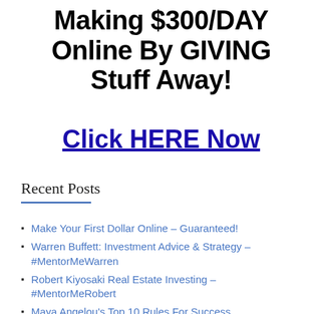Making $300/DAY Online By GIVING Stuff Away!
Click HERE Now
Recent Posts
Make Your First Dollar Online – Guaranteed!
Warren Buffett: Investment Advice & Strategy – #MentorMeWarren
Robert Kiyosaki Real Estate Investing – #MentorMeRobert
Maya Angelou's Top 10 Rules For Success
Must-Have Business Tools and Resources to Grow